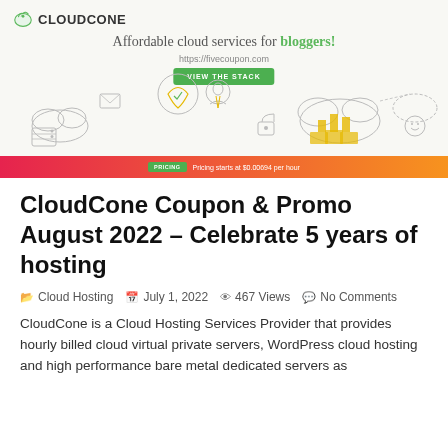[Figure (illustration): CloudCone banner advertisement showing logo, tagline 'Affordable cloud services for bloggers!', URL https://fivecoupon.com, a 'VIEW THE STACK' green button, illustrated cloud hosting icons and a person, with a pink-to-orange gradient bottom bar showing 'PRICING' button and 'Pricing starts at $0.00694 per hour']
CloudCone Coupon & Promo August 2022 – Celebrate 5 years of hosting
Cloud Hosting   July 1, 2022   467 Views   No Comments
CloudCone is a Cloud Hosting Services Provider that provides hourly billed cloud virtual private servers, WordPress cloud hosting and high performance bare metal dedicated servers as